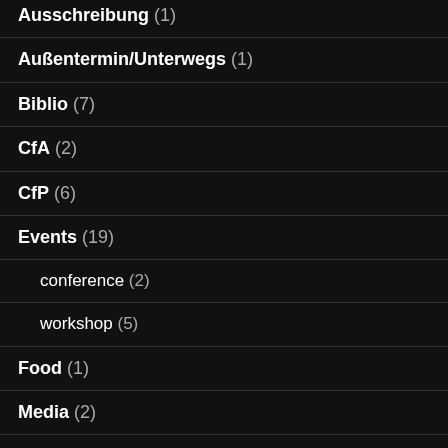Ausschreibung (1)
Außentermin/Unterwegs (1)
Biblio (7)
CfA (2)
CfP (6)
Events (19)
conference (2)
workshop (5)
Food (1)
Media (2)
Meta (3)
mss (1)
News (4)